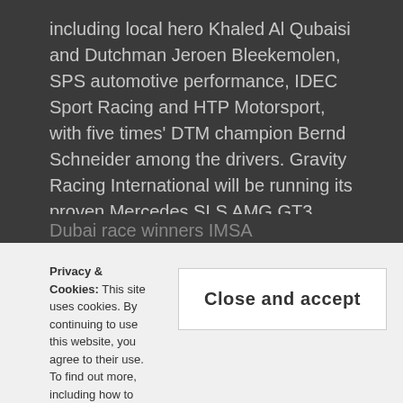including local hero Khaled Al Qubaisi and Dutchman Jeroen Bleekemolen, SPS automotive performance, IDEC Sport Racing and HTP Motorsport, with five times' DTM champion Bernd Schneider among the drivers. Gravity Racing International will be running its proven Mercedes SLS AMG GT3.
Last year's Dubai race winners, Belgian Audi Club Team WRT, will be back with a pair of Audi R8 LMSs, with a line-up that includes reigning Blancpain GT Series Sprint champion Enzo Ide and three times' Le Mans winner Marcel Fässler. Optimum Motorsport and Car Collection Motorsport will be running R8s as well. American racing power can be expected from V8 Racing with a Chevrolet Corvette C6-ZR1 and Eurotrac by Bas Koeten's Dodge Viper CC. UAE-based team GP Extreme will be running a pair of Renault R.S. 01 with a line-up that includes
Dubai race winners IMSA Performance, Herberth Motorsport
Privacy & Cookies: This site uses cookies. By continuing to use this website, you agree to their use.
To find out more, including how to control cookies,